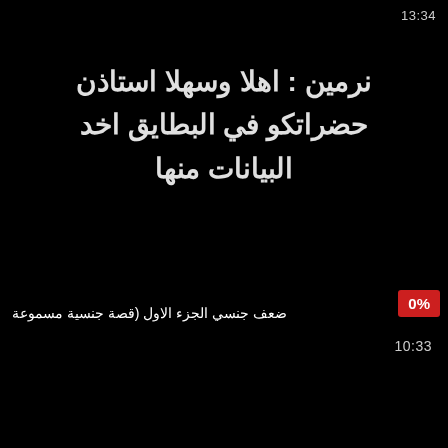13:34
نرمين : اهلا وسهلا استاذن حضراتكو في البطايق اخد البيانات منها
ضعف جنسي الجزء الاول (قصة جنسية مسموعة
[Figure (other): Red badge showing 0% progress indicator]
10:33